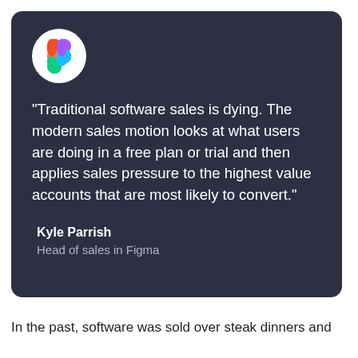[Figure (logo): Figma logo — colorful F symbol on white circle background]
“Traditional software sales is dying. The modern sales motion looks at what users are doing in a free plan or trial and then applies sales pressure to the highest value accounts that are most likely to convert.”
Kyle Parrish
Head of sales in Figma
In the past, software was sold over steak dinners and